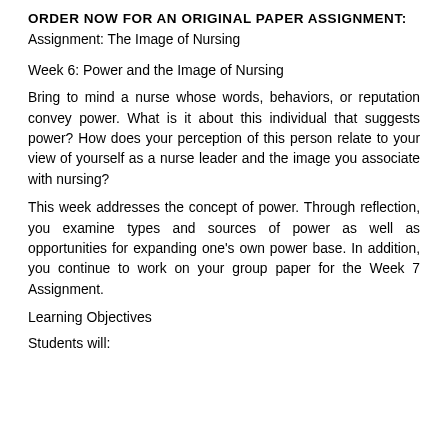ORDER NOW FOR AN ORIGINAL PAPER ASSIGNMENT:
Assignment: The Image of Nursing
Week 6: Power and the Image of Nursing
Bring to mind a nurse whose words, behaviors, or reputation convey power. What is it about this individual that suggests power? How does your perception of this person relate to your view of yourself as a nurse leader and the image you associate with nursing?
This week addresses the concept of power. Through reflection, you examine types and sources of power as well as opportunities for expanding one’s own power base. In addition, you continue to work on your group paper for the Week 7 Assignment.
Learning Objectives
Students will: